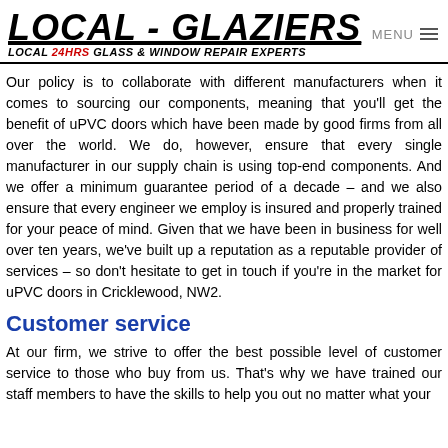LOCAL - GLAZIERS LOCAL 24HRS GLASS & WINDOW REPAIR EXPERTS
Our policy is to collaborate with different manufacturers when it comes to sourcing our components, meaning that you'll get the benefit of uPVC doors which have been made by good firms from all over the world. We do, however, ensure that every single manufacturer in our supply chain is using top-end components. And we offer a minimum guarantee period of a decade – and we also ensure that every engineer we employ is insured and properly trained for your peace of mind. Given that we have been in business for well over ten years, we've built up a reputation as a reputable provider of services – so don't hesitate to get in touch if you're in the market for uPVC doors in Cricklewood, NW2.
Customer service
At our firm, we strive to offer the best possible level of customer service to those who buy from us. That's why we have trained our staff members to have the skills to help you out no matter what your